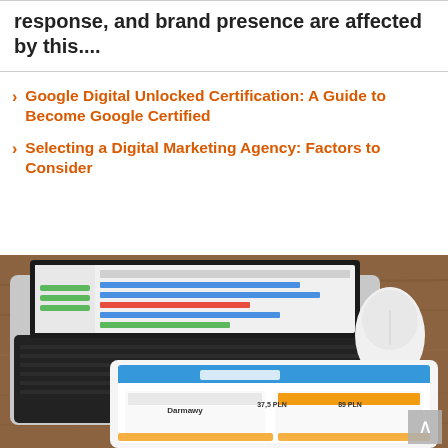response, and brand presence are affected by this....
Google Digital Unlocked Certification: A Guide to Become Google Certified
Selecting a Digital Marketing Agency: Factors to Consider
[Figure (photo): Photo of a MacBook laptop open on a wooden desk next to a white Apple Magic Mouse, with an iPad in front showing a pricing/Cennik page with options including Darmawy and prices in PLN (37.5 PLN, 89 PLN).]